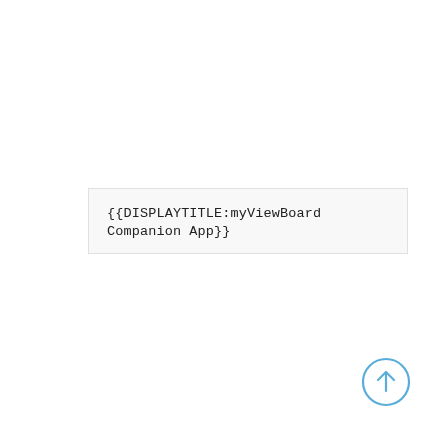{{DISPLAYTITLE:myViewBoard Companion App}}
[Figure (illustration): A circular up-arrow icon in blue outline style, located in the bottom-right corner of the page.]